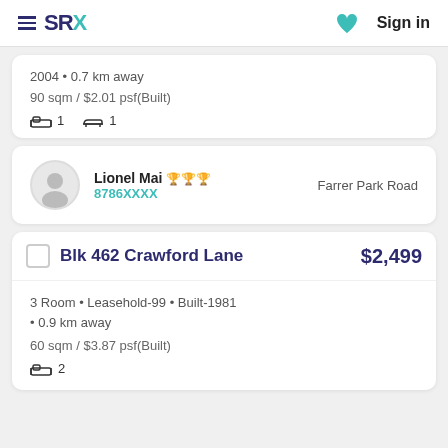SRX   Sign in
2004 • 0.7 km away
90 sqm / $2.01 psf(Built)
1 bedroom  1 bathroom
Lionel Mai 🏆🏆🏆  8786XXXX   Farrer Park Road
Blk 462 Crawford Lane   $2,499
3 Room • Leasehold-99 • Built-1981 • 0.9 km away
60 sqm / $3.87 psf(Built)
2 bedrooms